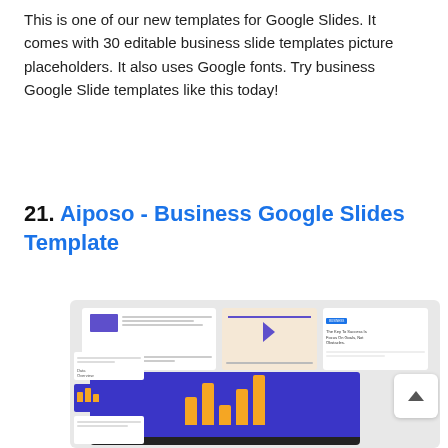This is one of our new templates for Google Slides. It comes with 30 editable business slide templates picture placeholders. It also uses Google fonts. Try business Google Slide templates like this today!
21. Aiposo - Business Google Slides Template
[Figure (screenshot): Screenshot of the Aiposo Business Google Slides Template showing multiple slide thumbnails with purple and orange accents, a laptop screen displaying a bar chart on a blue background, and a scroll-to-top button.]